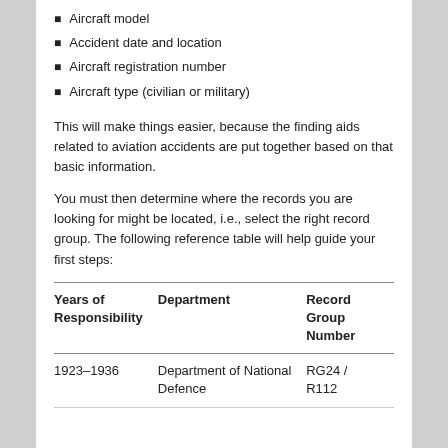Aircraft model
Accident date and location
Aircraft registration number
Aircraft type (civilian or military)
This will make things easier, because the finding aids related to aviation accidents are put together based on that basic information.
You must then determine where the records you are looking for might be located, i.e., select the right record group. The following reference table will help guide your first steps:
| Years of Responsibility | Department | Record Group Number |
| --- | --- | --- |
| 1923–1936 | Department of National Defence | RG24 / R112 |